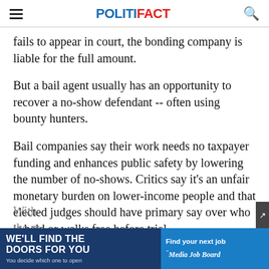POLITIFACT
fails to appear in court, the bonding company is liable for the full amount.
But a bail agent usually has an opportunity to recover a no-show defendant -- often using bounty hunters.
Bail companies say their work needs no taxpayer funding and enhances public safety by lowering the number of no-shows. Critics say it's an unfair monetary burden on lower-income people and that elected judges should have primary say over who is held or walks free before trial.
With the m...
[Figure (screenshot): Advertisement banner at bottom: left side dark blue with text 'WE'LL FIND THE DOORS FOR YOU / You decide which one to open' with illustration; right side blue with 'Find your next job' and 'Media Job Board' logo. Close button (x) and share button visible on right side.]